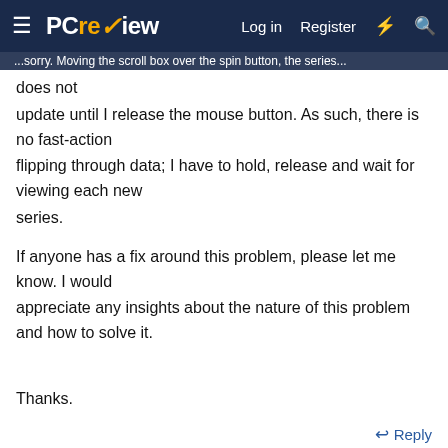PC review — Log in  Register
...does not update until I release the mouse button. As such, there is no fast-action flipping through data; I have to hold, release and wait for viewing each new series.

If anyone has a fix around this problem, please let me know. I would appreciate any insights about the nature of this problem and how to solve it.

Thanks.
Reply
Advertisements